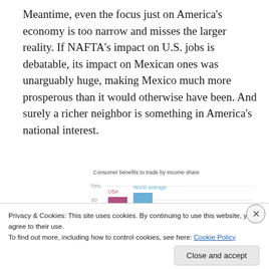Meantime, even the focus just on America's economy is too narrow and misses the larger reality. If NAFTA's impact on U.S. jobs is debatable, its impact on Mexican ones was unarguably huge, making Mexico much more prosperous than it would otherwise have been. And surely a richer neighbor is something in America's national interest.
[Figure (bar-chart): Consumer benefits to trade by income share]
Privacy & Cookies: This site uses cookies. By continuing to use this website, you agree to their use.
To find out more, including how to control cookies, see here: Cookie Policy